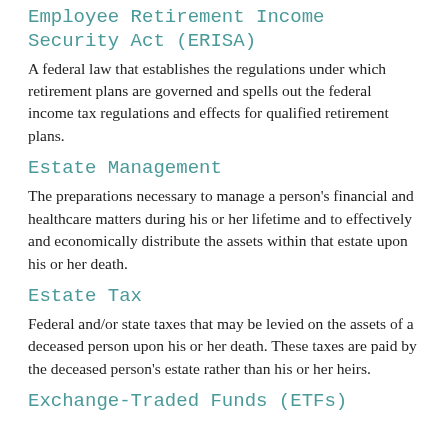Employee Retirement Income Security Act (ERISA)
A federal law that establishes the regulations under which retirement plans are governed and spells out the federal income tax regulations and effects for qualified retirement plans.
Estate Management
The preparations necessary to manage a person's financial and healthcare matters during his or her lifetime and to effectively and economically distribute the assets within that estate upon his or her death.
Estate Tax
Federal and/or state taxes that may be levied on the assets of a deceased person upon his or her death. These taxes are paid by the deceased person's estate rather than his or her heirs.
Exchange-Traded Funds (ETFs)